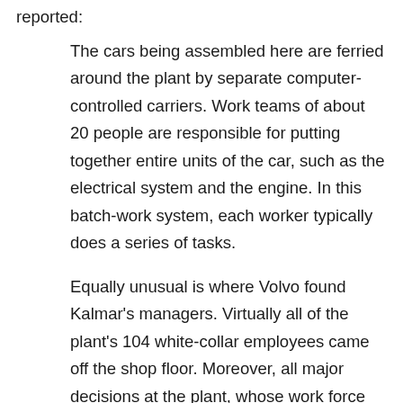reported:
The cars being assembled here are ferried around the plant by separate computer-controlled carriers. Work teams of about 20 people are responsible for putting together entire units of the car, such as the electrical system and the engine. In this batch-work system, each worker typically does a series of tasks.
Equally unusual is where Volvo found Kalmar’s managers. Virtually all of the plant’s 104 white-collar employees came off the shop floor. Moreover, all major decisions at the plant, whose work force totals 920, must be approved by a joint committee representing both labor and management.
Volvo has discovered that workers are much happier under the Kalmar approach. And that has resulted in